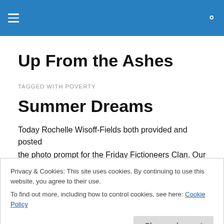Up From the Ashes — navigation header with hamburger menu and search icon
Up From the Ashes
TAGGED WITH POVERTY
Summer Dreams
Today Rochelle Wisoff-Fields both provided and posted the photo prompt for the Friday Fictioneers Clan. Our Fairy
Privacy & Cookies: This site uses cookies. By continuing to use this website, you agree to their use.
To find out more, including how to control cookies, see here: Cookie Policy
Close and accept